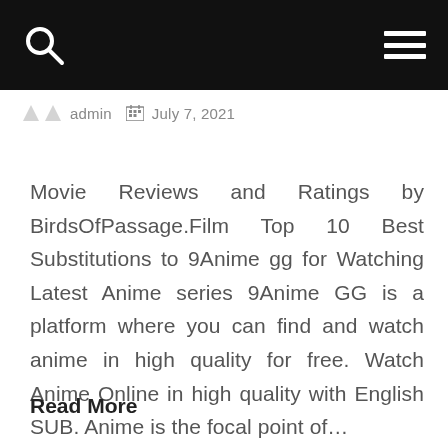admin  July 7, 2021
Movie Reviews and Ratings by BirdsOfPassage.Film Top 10 Best Substitutions to 9Anime gg for Watching Latest Anime series 9Anime GG is a platform where you can find and watch anime in high quality for free. Watch Anime Online in high quality with English SUB. Anime is the focal point of…
Read More